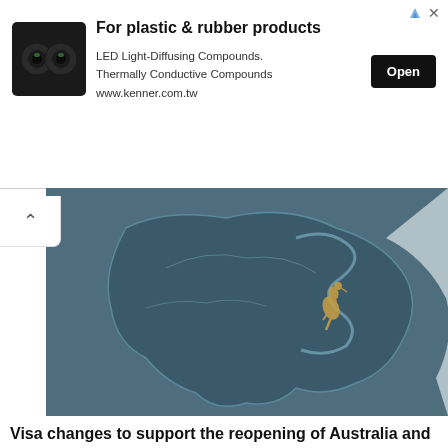[Figure (other): Advertisement banner for plastic and rubber products showing two green LED light diffusing rings. Title: For plastic & rubber products. Description: LED Light-Diffusing Compounds. Thermally Conductive Compounds. www.kenner.com.tw. With an Open button.]
[Figure (map): Cropped aerial/satellite style map image showing Australian continent outline in dark teal/blue tones with a kangaroo silhouette visible.]
Visa changes to support the reopening of Australia and our economic recovery
The Indian Telegraph  -  November 25, 2021
[Figure (photo): Photo of an airport terminal interior showing ceiling structure, suspended blue sign reading 'Terminal', in muted grey/blue tones with a chat widget overlay.]
We're offline
Leave a message